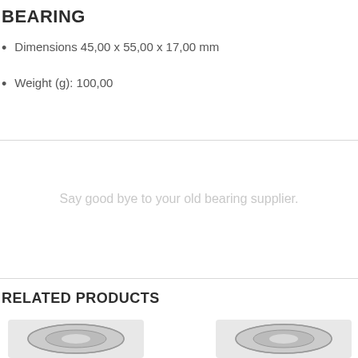BEARING
Dimensions 45,00 x 55,00 x 17,00 mm
Weight (g): 100,00
Say good bye to your old bearing supplier.
RELATED PRODUCTS
[Figure (photo): Bearing product image left]
[Figure (photo): Bearing product image right]